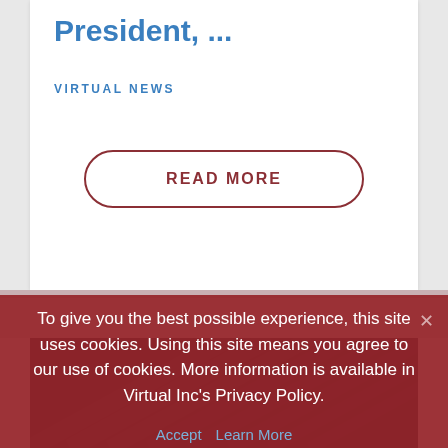President, ...
VIRTUAL NEWS
READ MORE
[Figure (photo): Dark architectural/building photo with diagonal lines and dark teal tones]
To give you the best possible experience, this site uses cookies. Using this site means you agree to our use of cookies. More information is available in Virtual Inc's Privacy Policy.
Accept  Learn More